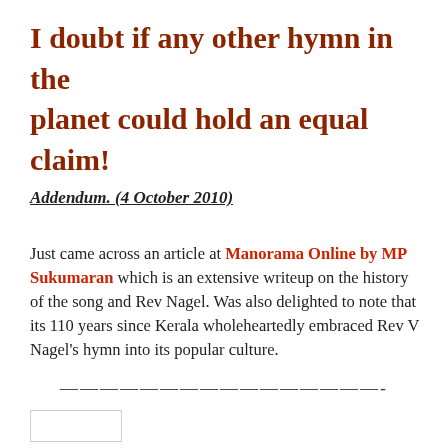I doubt if any other hymn in the planet could hold an equal claim!
Addendum. (4 October 2010)
Just came across an article at Manorama Online by MP Sukumaran which is an extensive writeup on the history of the song and Rev Nagel. Was also delighted to note that its 110 years since Kerala wholeheartedly embraced Rev V Nagel's hymn into its popular culture.
————————————————-